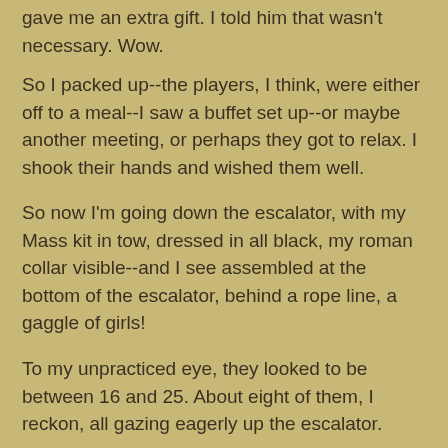gave me an extra gift. I told him that wasn't necessary. Wow.
So I packed up--the players, I think, were either off to a meal--I saw a buffet set up--or maybe another meeting, or perhaps they got to relax. I shook their hands and wished them well.
So now I'm going down the escalator, with my Mass kit in tow, dressed in all black, my roman collar visible--and I see assembled at the bottom of the escalator, behind a rope line, a gaggle of girls!
To my unpracticed eye, they looked to be between 16 and 25. About eight of them, I reckon, all gazing eagerly up the escalator.
"Did you meet someone famous?" one of them asked as I came down.
"How do you know I'm not someone famous?" I replied.
"Oh, sure, you are, but what about the players?"